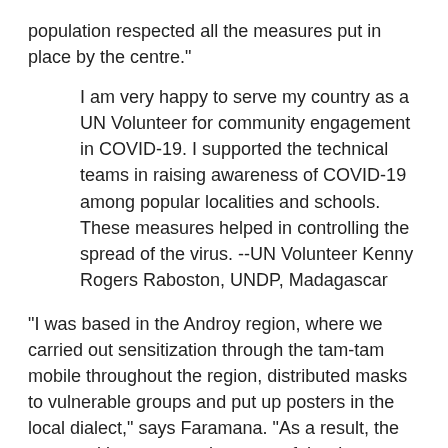population respected all the measures put in place by the centre."
I am very happy to serve my country as a UN Volunteer for community engagement in COVID-19. I supported the technical teams in raising awareness of COVID-19 among popular localities and schools. These measures helped in controlling the spread of the virus. --UN Volunteer Kenny Rogers Raboston, UNDP, Madagascar
"I was based in the Androy region, where we carried out sensitization through the tam-tam mobile throughout the region, distributed masks to vulnerable groups and put up posters in the local dialect," says Faramana. "As a result, the communities were made aware of the dangers and that the coronavirus really exists. Communities are aware of preventive and precautionary measures in case of